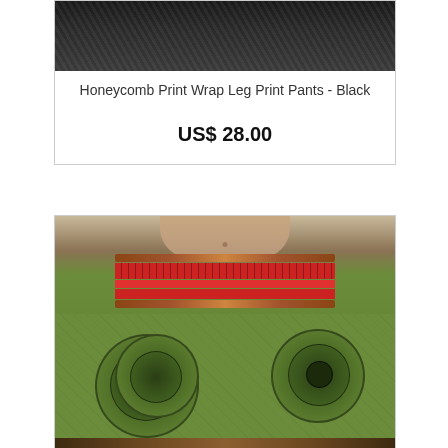[Figure (photo): Top portion of black honeycomb print wrap leg pants on a model, cropped at the top of the page]
Honeycomb Print Wrap Leg Print Pants - Black
US$ 28.00
[Figure (photo): Model wearing wide-leg mandala print pants in olive green with red and brown patterned waistband, photo cropped at torso]